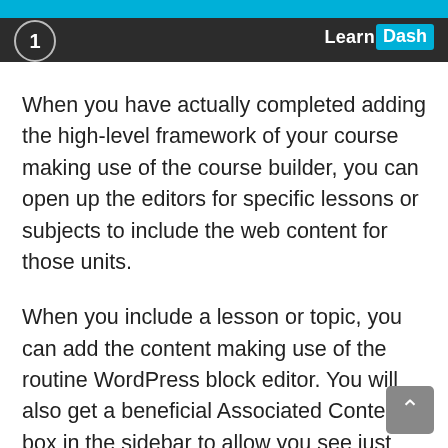1 LearnDash
When you have actually completed adding the high-level framework of your course making use of the course builder, you can open up the editors for specific lessons or subjects to include the web content for those units.
When you include a lesson or topic, you can add the content making use of the routine WordPress block editor. You will also get a beneficial Associated Content box in the sidebar to allow you see just